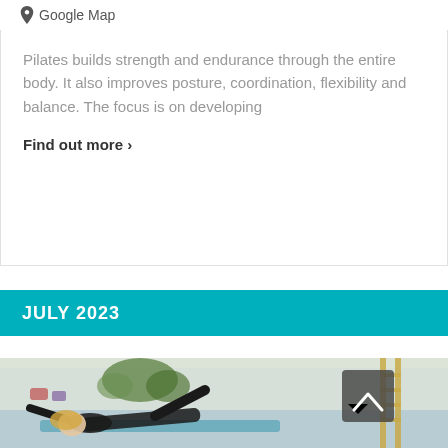Google Map
Pilates builds strength and endurance through the entire body. It also improves posture, coordination, flexibility and balance. The focus is on developing
Find out more >
JULY 2023
[Figure (photo): A woman performing a Pilates exercise lying on her back on a mat in a studio, with plants and equipment visible in the background.]